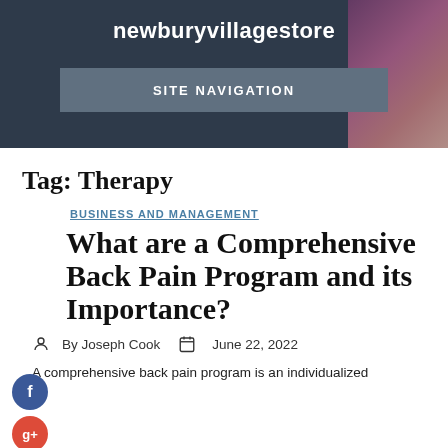newburyvillagestore
SITE NAVIGATION
Tag: Therapy
BUSINESS AND MANAGEMENT
What are a Comprehensive Back Pain Program and its Importance?
By Joseph Cook   June 22, 2022
A comprehensive back pain program is an individualized